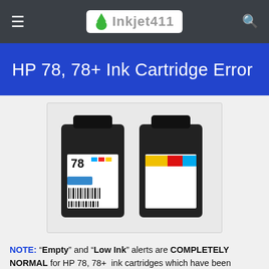Inkjet411
HP 78, 78+ Ink Cartridge Error
[Figure (photo): Two HP 78 ink cartridges side by side — the left one showing a label with '78' and color swatches with a barcode, the right one showing a yellow/magenta/cyan color label.]
NOTE: “Empty” and “Low Ink” alerts are COMPLETELY NORMAL for HP 78, 78+ ink cartridges which have been refilled. Without f...